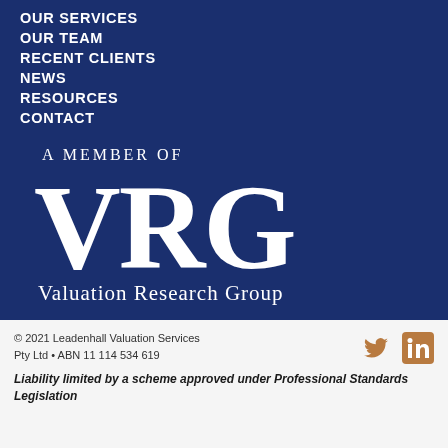OUR SERVICES
OUR TEAM
RECENT CLIENTS
NEWS
RESOURCES
CONTACT
[Figure (logo): VRG Valuation Research Group logo with text 'A MEMBER OF' above large VRG letters and 'Valuation Research Group' below]
© 2021 Leadenhall Valuation Services Pty Ltd • ABN 11 114 534 619
Liability limited by a scheme approved under Professional Standards Legislation